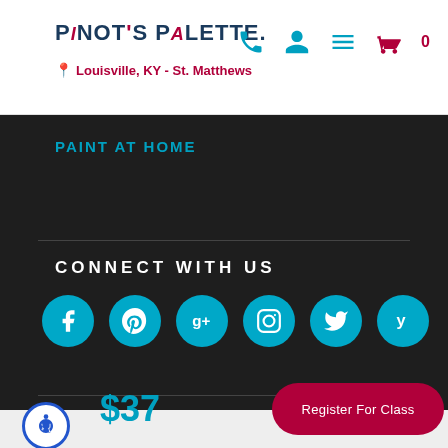Pinot's Palette - Louisville, KY - St. Matthews
PAINT AT HOME
CONNECT WITH US
[Figure (infographic): Six social media icon circles: Facebook, Pinterest, Google+, Instagram, Twitter, Yelp — all teal/cyan colored]
$37
Register For Class